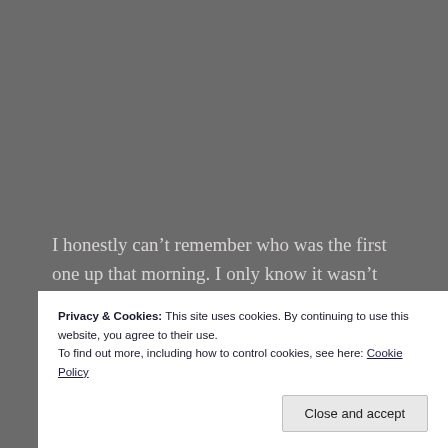I honestly can't remember who was the first one up that morning. I only know it wasn't me. Whoever it was called dibs on the shower. This was fine with me as I intended to sleep as late as I could before rushing to get ready for class.
Somewhere in that zone where you're not fully awake
Privacy & Cookies: This site uses cookies. By continuing to use this website, you agree to their use.
To find out more, including how to control cookies, see here: Cookie Policy
center.